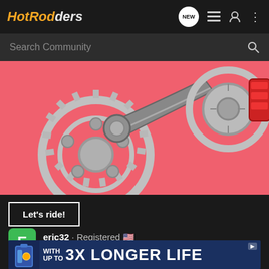HotRodders
Search Community
[Figure (photo): Car parts including gears, connecting rod, and brake disc on a pink/coral background]
Let's ride!
eric32 · Registered 🇺🇸
Joined May 29, 2008 · 4,925 Posts
[Figure (infographic): Advertisement banner: WITH UP TO 3X LONGER LIFE]
#13 · Ju...